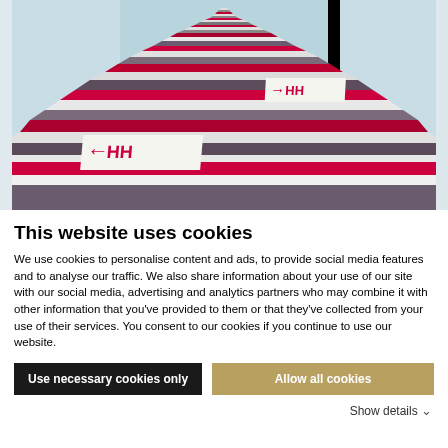[Figure (photo): Photograph of a hotel or office corridor/staircase with striped carpet in red, grey, and white horizontal bands, viewed from one end showing perspective depth. Two arrow signs are visible on the floor.]
This website uses cookies
We use cookies to personalise content and ads, to provide social media features and to analyse our traffic. We also share information about your use of our site with our social media, advertising and analytics partners who may combine it with other information that you've provided to them or that they've collected from your use of their services. You consent to our cookies if you continue to use our website.
Use necessary cookies only
Allow all cookies
Show details